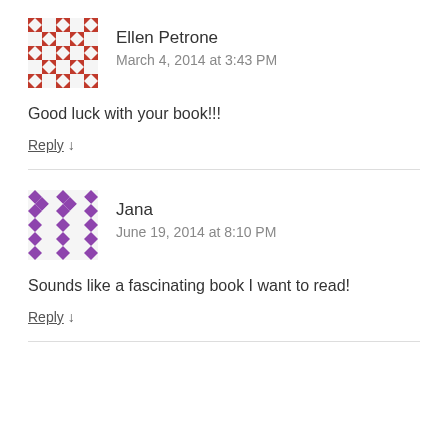[Figure (illustration): Red and white geometric patterned avatar for Ellen Petrone]
Ellen Petrone
March 4, 2014 at 3:43 PM
Good luck with your book!!!
Reply ↓
[Figure (illustration): Purple and white geometric patterned avatar for Jana]
Jana
June 19, 2014 at 8:10 PM
Sounds like a fascinating book I want to read!
Reply ↓